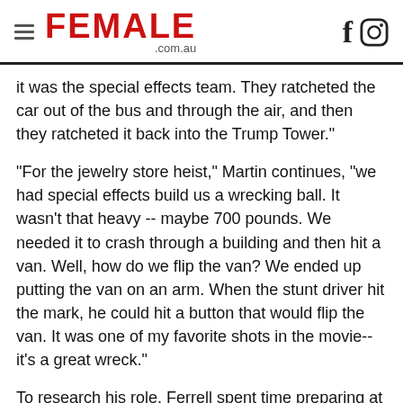FEMALE .com.au
it was the special effects team. They ratcheted the car out of the bus and through the air, and then they ratcheted it back into the Trump Tower."
"For the jewelry store heist," Martin continues, "we had special effects build us a wrecking ball. It wasn't that heavy -- maybe 700 pounds. We needed it to crash through a building and then hit a van. Well, how do we flip the van? We ended up putting the van on an arm. When the stunt driver hit the mark, he could hit a button that would flip the van. It was one of my favorite shots in the movie-- it's a great wreck."
To research his role, Ferrell spent time preparing at police precincts and with cops, following the routine of daily life. "I actually got to do a little bit of research, go to a shooting range. I visited a couple of the precincts to see what the